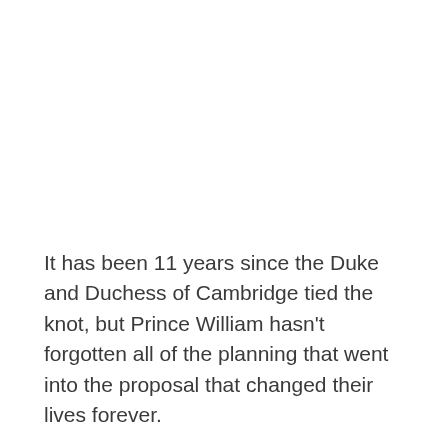It has been 11 years since the Duke and Duchess of Cambridge tied the knot, but Prince William hasn't forgotten all of the planning that went into the proposal that changed their lives forever.